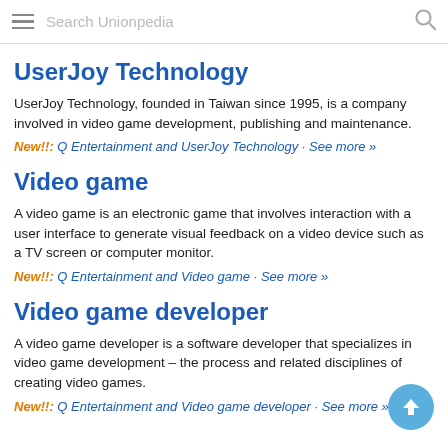Search Unionpedia
UserJoy Technology
UserJoy Technology, founded in Taiwan since 1995, is a company involved in video game development, publishing and maintenance.
New!!: Q Entertainment and UserJoy Technology · See more »
Video game
A video game is an electronic game that involves interaction with a user interface to generate visual feedback on a video device such as a TV screen or computer monitor.
New!!: Q Entertainment and Video game · See more »
Video game developer
A video game developer is a software developer that specializes in video game development – the process and related disciplines of creating video games.
New!!: Q Entertainment and Video game developer · See more »